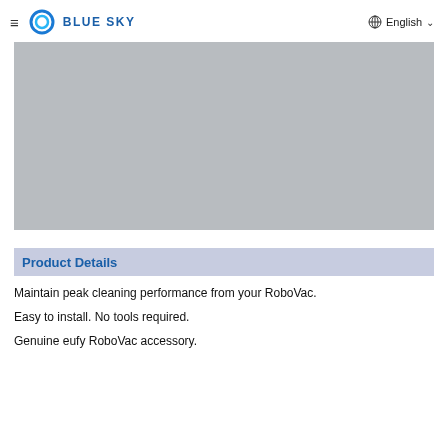≡ BLUE SKY   🌐 English ∨
[Figure (photo): Large rectangular placeholder image with light gray background, likely showing a product photo that failed to load.]
Product Details
Maintain peak cleaning performance from your RoboVac.
Easy to install. No tools required.
Genuine eufy RoboVac accessory.